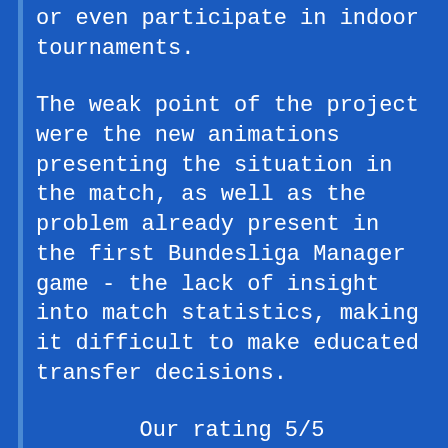or even participate in indoor tournaments.
The weak point of the project were the new animations presenting the situation in the match, as well as the problem already present in the first Bundesliga Manager game - the lack of insight into match statistics, making it difficult to make educated transfer decisions.
Our rating 5/5